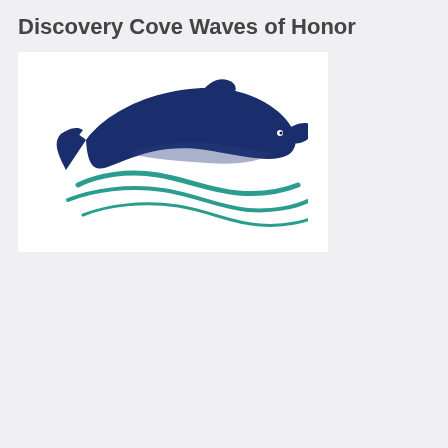Discovery Cove Waves of Honor
[Figure (logo): Discovery Cove Orlando logo featuring a dark blue dolphin jumping over teal wave lines, with text 'Discovery Cove Orlando' in dark navy blue serif font below]